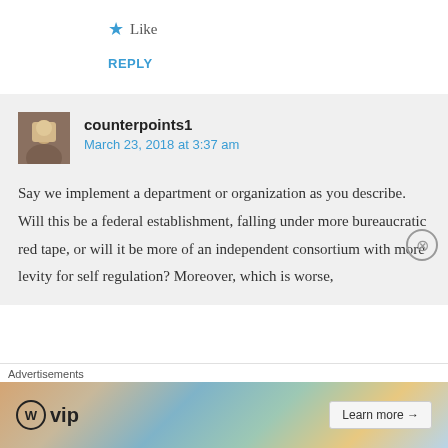★ Like
REPLY
counterpoints1
March 23, 2018 at 3:37 am
Say we implement a department or organization as you describe. Will this be a federal establishment, falling under more bureaucratic red tape, or will it be more of an independent consortium with more levity for self regulation? Moreover, which is worse,
[Figure (other): WordPress VIP advertisement banner with colorful background showing business card imagery, WordPress VIP logo, and Learn More button]
Advertisements